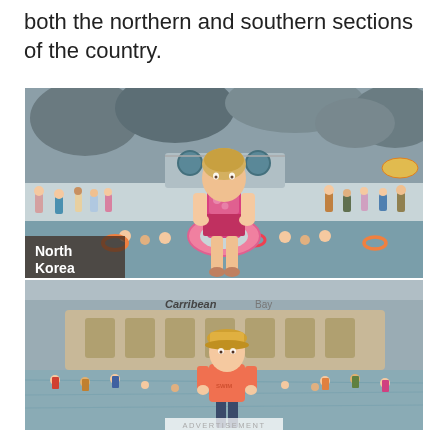both the northern and southern sections of the country.
[Figure (photo): Split photograph comparing beach/pool scenes in North Korea (top) and South Korea (bottom). Top image shows a woman in a pink floral swimsuit with a pink float ring standing at a crowded indoor water park. Label reads 'North Korea'. Bottom image shows a woman in an orange rashguard standing in a crowded outdoor beach or water park area with a Carribean-style backdrop. An 'ADVERTISEMENT' label appears at the bottom.]